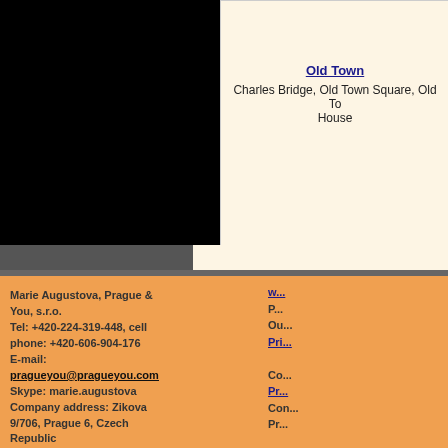[Figure (screenshot): Partial screenshot of a Prague tourism website showing a cream-colored info box with Old Town link and description, set against a black background]
Old Town
Charles Bridge, Old Town Square, Old To... House
Marie Augustova, Prague & You, s.r.o.
Tel: +420-224-319-448, cell phone: +420-606-904-176
E-mail: pragueyou@pragueyou.com
Skype: marie.augustova
Company address: Zikova 9/706, Prague 6, Czech Republic
Company ID: 283 85 012, tax ID: CZ28385012
w...
P...
Our...
Pri...
Co...
Pr...
Con...
Pr...
We...
www... pr... web...